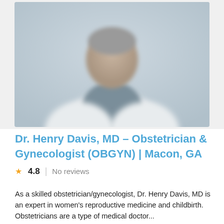[Figure (photo): Blurred photo of a male doctor in a white coat against a light gray background, facing the camera]
Dr. Henry Davis, MD – Obstetrician & Gynecologist (OBGYN) | Macon, GA
4.8  |  No reviews
As a skilled obstetrician/gynecologist, Dr. Henry Davis, MD is an expert in women's reproductive medicine and childbirth. Obstetricians are a type of medical doctor...